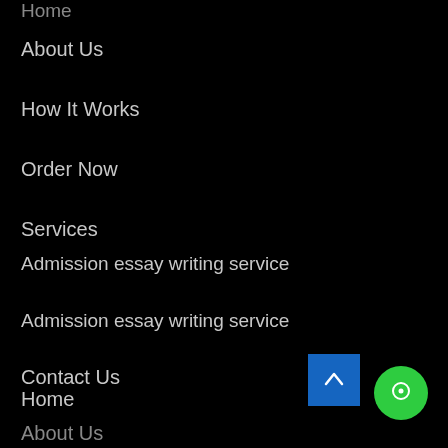Home
About Us
How It Works
Order Now
Services
Admission essay writing service
Admission essay writing service
Contact Us
Home
About Us
How It Works